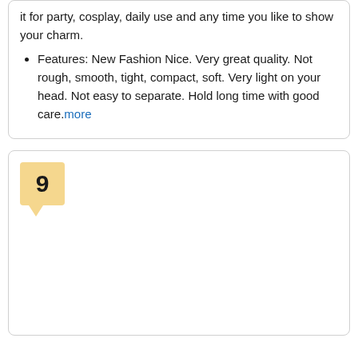it for party, cosplay, daily use and any time you like to show your charm.
Features: New Fashion Nice. Very great quality. Not rough, smooth, tight, compact, soft. Very light on your head. Not easy to separate. Hold long time with good care.more
[Figure (other): A numbered badge showing '9' with a yellow background and a downward pointing tail, inside a card panel]